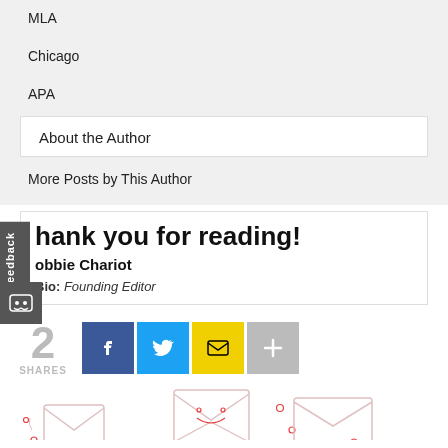MLA
Chicago
APA
About the Author
More Posts by This Author
Thank you for reading!
Robbie Chariot
Bio: Founding Editor
2
SHARES
[Figure (illustration): Social share buttons: Facebook (blue), Twitter (cyan), Email (yellow), Plus/More (gray). Number 2 shares displayed to the left. Decorative envelope illustration at the bottom.]